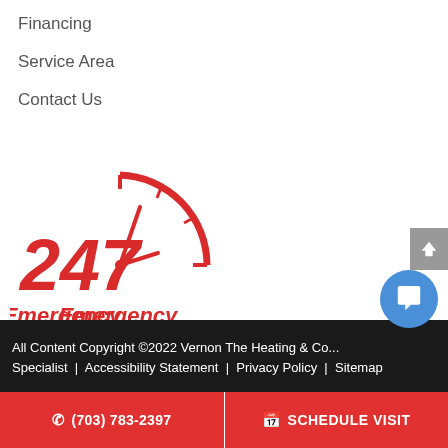Financing
Service Area
Contact Us
[Figure (logo): 247 Emergency Services logo with a clock graphic in red]
All Content Copyright ©2022 Vernon The Heating & Cooling Specialist | Accessibility Statement | Privacy Policy | Sitemap
☎ (703) 783-2397
SCHEDULE VISIT